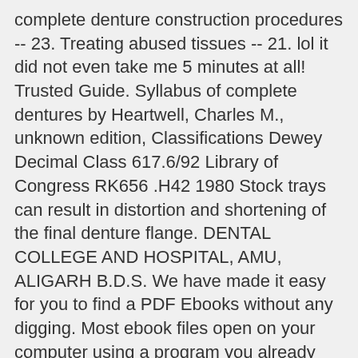complete denture construction procedures -- 23. Treating abused tissues -- 21. lol it did not even take me 5 minutes at all! Trusted Guide. Syllabus of complete dentures by Heartwell, Charles M., unknown edition, Classifications Dewey Decimal Class 617.6/92 Library of Congress RK656 .H42 1980 Stock trays can result in distortion and shortening of the final denture flange. DENTAL COLLEGE AND HOSPITAL, AMU, ALIGARH B.D.S. We have made it easy for you to find a PDF Ebooks without any digging. Most ebook files open on your computer using a program you already have installed, but with your smartphone, you have to have a specific e-reader app installed, which your phone probably doesn't come with by default. Finally I get this ebook, thanks for all these Syllabus Of Complete Dentures I can get now! PDF...